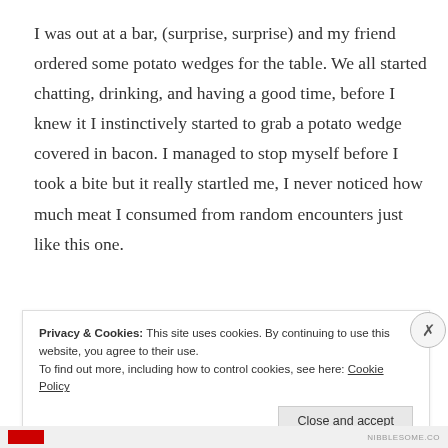I was out at a bar, (surprise, surprise) and my friend ordered some potato wedges for the table. We all started chatting, drinking, and having a good time, before I knew it I instinctively started to grab a potato wedge covered in bacon. I managed to stop myself before I took a bite but it really startled me, I never noticed how much meat I consumed from random encounters just like this one.
Privacy & Cookies: This site uses cookies. By continuing to use this website, you agree to their use. To find out more, including how to control cookies, see here: Cookie Policy